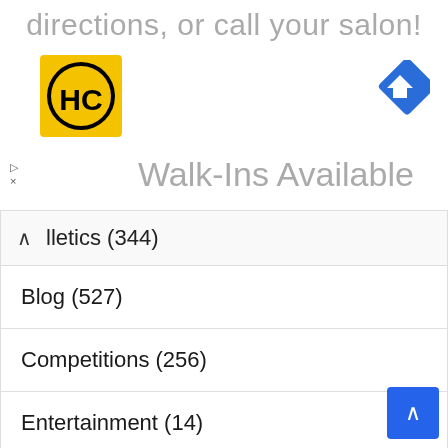directions, or call your salon!
[Figure (logo): HC logo - yellow square with black HC letters in a circle]
[Figure (other): Blue diamond navigation/directions icon with white arrow]
Walk-Ins Available
lletics (344)
Blog (527)
Competitions (256)
Entertainment (14)
Event Results (357)
Fashion (4)
General news (162)